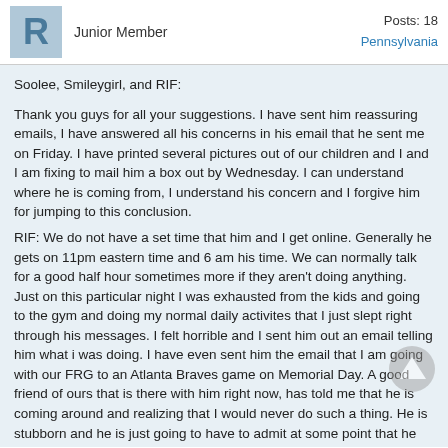R  Junior Member  Posts: 18  Pennsylvania
Soolee, Smileygirl, and RIF:

Thank you guys for all your suggestions. I have sent him reassuring emails, I have answered all his concerns in his email that he sent me on Friday. I have printed several pictures out of our children and I and I am fixing to mail him a box out by Wednesday. I can understand where he is coming from, I understand his concern and I forgive him for jumping to this conclusion.
RIF: We do not have a set time that him and I get online. Generally he gets on 11pm eastern time and 6 am his time. We can normally talk for a good half hour sometimes more if they aren't doing anything. Just on this particular night I was exhausted from the kids and going to the gym and doing my normal daily activites that I just slept right through his messages. I felt horrible and I sent him out an email telling him what i was doing. I have even sent him the email that I am going with our FRG to an Atlanta Braves game on Memorial Day. A good friend of ours that is there with him right now, has told me that he is coming around and realizing that I would never do such a thing. He is stubborn and he is just going to have to admit at some point that he was wrong. Hopefully he gets back to his normal self very soon because I miss him very much and I miss talking to him or even just getting an email from him. I did receive a card in the mail with his voice